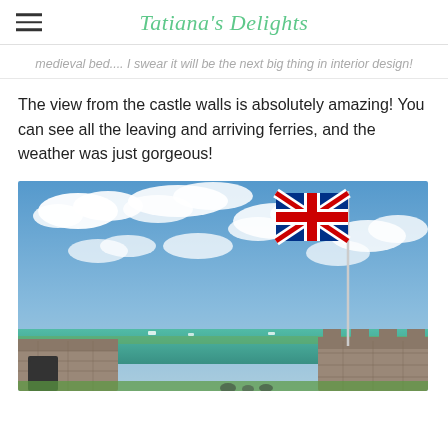Tatiana's Delights
medieval bed.... I swear it will be the next big thing in interior design!
The view from the castle walls is absolutely amazing! You can see all the leaving and arriving ferries, and the weather was just gorgeous!
[Figure (photo): View from castle walls showing blue sky with clouds, a Union Jack flag on a flagpole, stone castle battlements in foreground, and turquoise sea in the background]